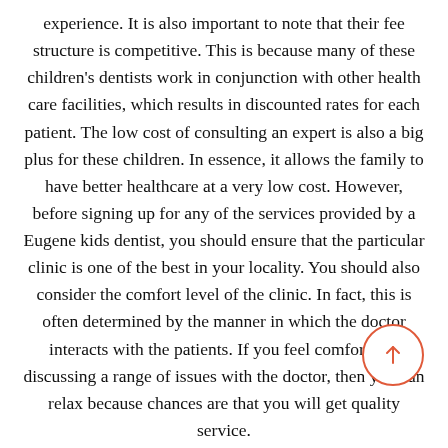experience. It is also important to note that their fee structure is competitive. This is because many of these children's dentists work in conjunction with other health care facilities, which results in discounted rates for each patient. The low cost of consulting an expert is also a big plus for these children. In essence, it allows the family to have better healthcare at a very low cost. However, before signing up for any of the services provided by a Eugene kids dentist, you should ensure that the particular clinic is one of the best in your locality. You should also consider the comfort level of the clinic. In fact, this is often determined by the manner in which the doctor interacts with the patients. If you feel comfortable discussing a range of issues with the doctor, then you can relax because chances are that you will get quality service.